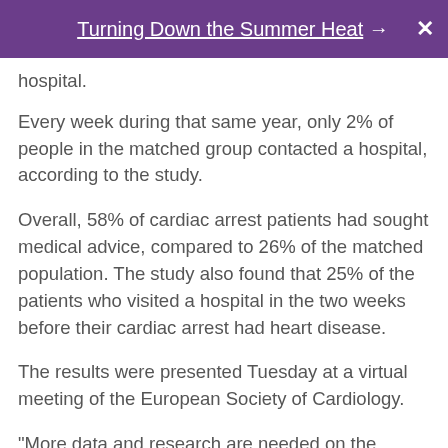Turning Down the Summer Heat →  X
hospital.
Every week during that same year, only 2% of people in the matched group contacted a hospital, according to the study.
Overall, 58% of cardiac arrest patients had sought medical advice, compared to 26% of the matched population. The study also found that 25% of the patients who visited a hospital in the two weeks before their cardiac arrest had heart disease.
The results were presented Tuesday at a virtual meeting of the European Society of Cardiology.
"More data and research are needed on the reasons for these interactions -- for example, symptoms -- to identify warning signs of those at imminent danger so